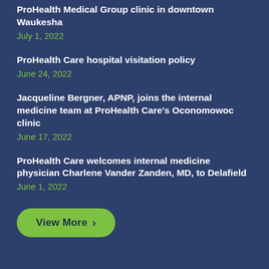ProHealth Medical Group clinic in downtown Waukesha
July 1, 2022
ProHealth Care hospital visitation policy
June 24, 2022
Jacqueline Bergner, APNP, joins the internal medicine team at ProHealth Care's Oconomowoc clinic
June 17, 2022
ProHealth Care welcomes internal medicine physician Charlene Vander Zanden, MD, to Delafield
June 1, 2022
View More >